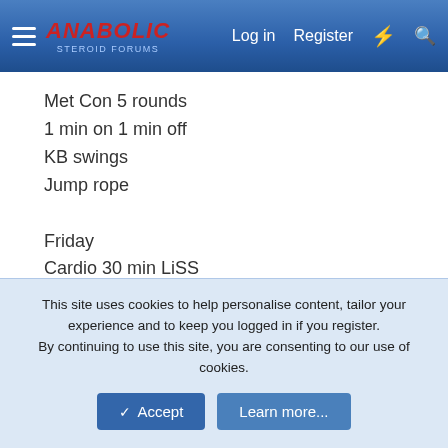Anabolic Steroid Forums — Log in | Register
Met Con 5 rounds
1 min on 1 min off
KB swings
Jump rope
Friday
Cardio 30 min LiSS
Super set
3 rounds
Planks 30 sec hold
Front / side /front / side
Straight leg (in air) crunch 15 reps
This site uses cookies to help personalise content, tailor your experience and to keep you logged in if you register.
By continuing to use this site, you are consenting to our use of cookies.